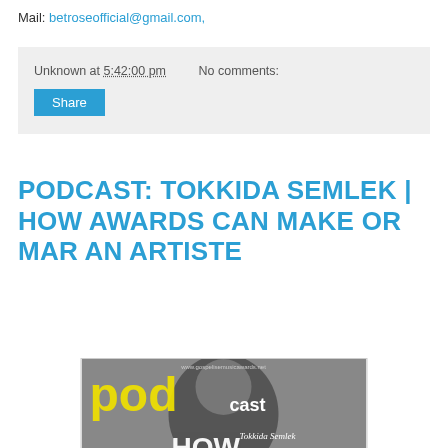Mail: betroseofficial@gmail.com,
Unknown at 5:42:00 pm   No comments:
Share
PODCAST: TOKKIDA SEMLEK | HOW AWARDS CAN MAKE OR MAR AN ARTISTE
[Figure (photo): Podcast cover image showing a man in a dark blazer and white shirt, with large yellow 'pod' text and 'cast' in white on a grey background. Text reads 'www.gospelisemusicawards.net' at top and 'Tokkida Semlek' in cursive at bottom. The word 'HOW' appears partially at the very bottom.]